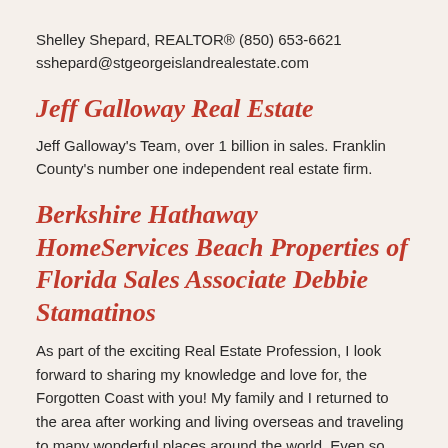Shelley Shepard, REALTOR® (850) 653-6621
sshepard@stgeorgeislandrealestate.com
Jeff Galloway Real Estate
Jeff Galloway's Team, over 1 billion in sales. Franklin County's number one independent real estate firm.
Berkshire Hathaway HomeServices Beach Properties of Florida Sales Associate Debbie Stamatinos
As part of the exciting Real Estate Profession, I look forward to sharing my knowledge and love for, the Forgotten Coast with you! My family and I returned to the area after working and living overseas and traveling to many wonderful places around the world. Even so, this is still one of the most beautiful places on earth to